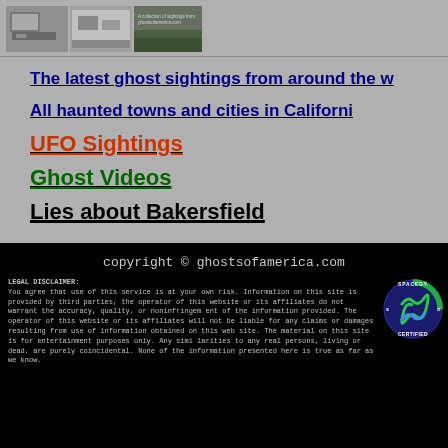[Figure (photo): Three thumbnail images at top: two grayscale photos on left, one outdoor/grass photo on right with small text overlay]
The latest ghost sightings from around the w
All haunted towns and cities in Californi
UFO Sightings
Ghost Videos
Lies about Bakersfield
copyright © ghostsofamerica.com
LEGAL DISCLAIMER: You agree that use of this service is at your own risk. Information on this site is provided by third parties, the operator of this website or its affiliates do not warrant the accuracy, quality, or noninfringement of the information provided. The operator of this website or its affiliates will not be liable for any claims or damages resulting from use of information obtained on this web site. The material on this site is for entertainment purposes only. Any similarities to any real persons, living or dead, are purely coincidental. None of the information presented here is true as far as we know.
[Figure (logo): Spacegy Certified badge/logo - circular green and blue logo with text SPACEGY CERTIFIED around the edge]